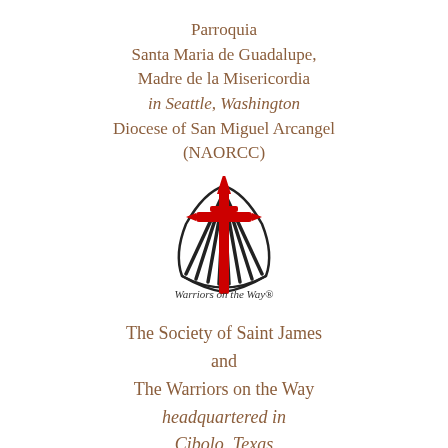Parroquia Santa Maria de Guadalupe, Madre de la Misericordia in Seattle, Washington Diocese of San Miguel Arcangel (NAORCC)
[Figure (logo): Warriors on the Way logo: a red stylized cross/sword overlaid on a black scallop shell, with the text 'Warriors on the Way' in cursive script below]
The Society of Saint James and The Warriors on the Way headquartered in Cibolo, Texas
This is the Facebook page of the Parish of